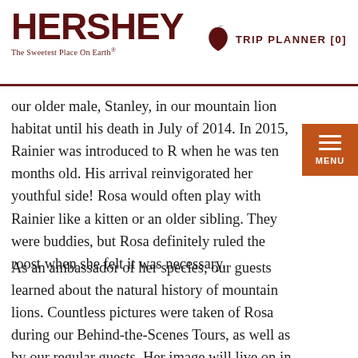HERSHEY The Sweetest Place On Earth® | TRIP PLANNER [0]
our older male, Stanley, in our mountain lion habitat until his death in July of 2014. In 2015, Rainier was introduced to R when he was ten months old. His arrival reinvigorated her youthful side! Rosa would often play with Rainier like a kitten or an older sibling. They were buddies, but Rosa definitely ruled the roost when she felt it was necessary.
As an ambassador of her species, our guests learned about the natural history of mountain lions. Countless pictures were taken of Rosa during our Behind-the-Scenes Tours, as well as by our regular guests. Her image will live on in many family photo albums.
Rosa also taught the staff. She made it clear that you can teach an old cat new "tricks", including her work with the zoo team in creating new ways to engage in physical therapy. If you ever had the opportunity to watch a training session, you were able to